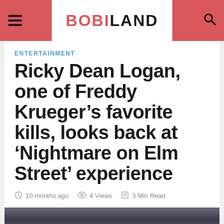BOBILAND
ENTERTAINMENT
Ricky Dean Logan, one of Freddy Krueger’s favorite kills, looks back at ‘Nightmare on Elm Street’ experience
10 months ago  4 Views  3 Min Read
[Figure (photo): Image of a person, partially visible at the bottom of the page]